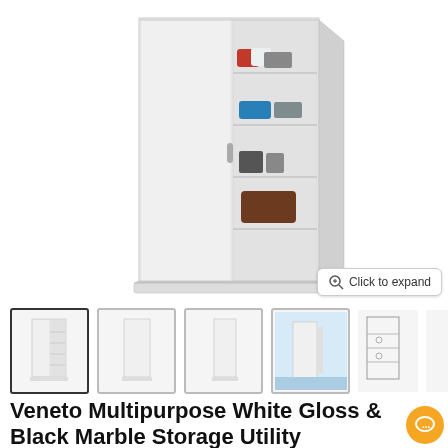[Figure (photo): White multipurpose storage utility cupboard with two sliding doors, one door open showing 5 shelves with shoes and bags inside]
[Figure (photo): Row of 6 product thumbnail images of the Veneto Multipurpose White Gloss & Black Marble Storage Utility Cupboard from various angles]
Veneto Multipurpose White Gloss & Black Marble Storage Utility Cupboard